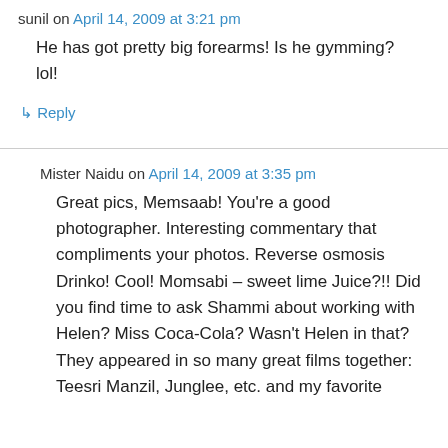sunil on April 14, 2009 at 3:21 pm
He has got pretty big forearms! Is he gymming? lol!
↳ Reply
Mister Naidu on April 14, 2009 at 3:35 pm
Great pics, Memsaab! You're a good photographer. Interesting commentary that compliments your photos. Reverse osmosis Drinko! Cool! Momsabi – sweet lime Juice?!! Did you find time to ask Shammi about working with Helen? Miss Coca-Cola? Wasn't Helen in that? They appeared in so many great films together: Teesri Manzil, Junglee, etc. and my favorite